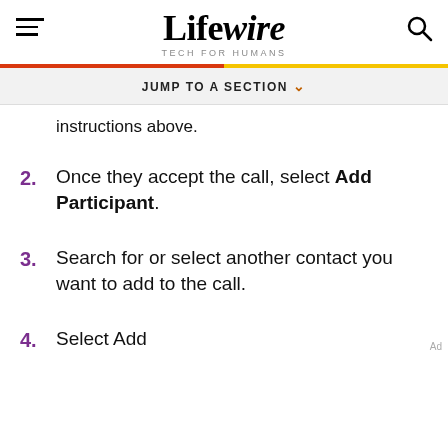Lifewire TECH FOR HUMANS
JUMP TO A SECTION
instructions above.
2. Once they accept the call, select Add Participant.
3. Search for or select another contact you want to add to the call.
4. Select Add